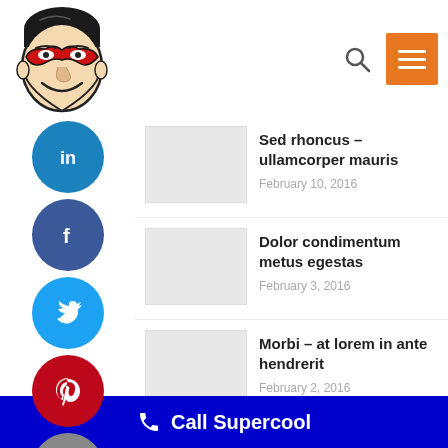[Figure (logo): Retro superhero mascot logo - man with red mask, smiling]
[Figure (illustration): Search icon (magnifying glass)]
[Figure (illustration): Orange hamburger menu button with three white lines]
[Figure (illustration): Social media sidebar icons: LinkedIn (blue), Facebook (dark blue), Twitter (light blue), Pinterest (red), Email (gray)]
Sed rhoncus – ullamcorper mauris
February 10, 2016
Dolor condimentum metus egestas
February 3, 2016
Morbi – at lorem in ante hendrerit
February 2, 2016
Call Supercool